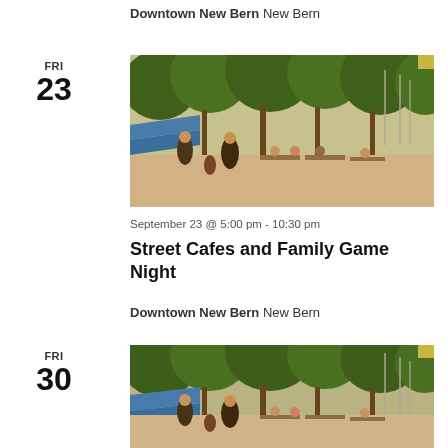Downtown New Bern New Bern
FRI
23
[Figure (photo): Outdoor street cafe scene with people sitting at tables, trees lining the walkway, sailboats visible in background, warm evening light]
September 23 @ 5:00 pm - 10:30 pm
Street Cafes and Family Game Night
Downtown New Bern New Bern
FRI
30
[Figure (photo): Same outdoor street cafe scene at Downtown New Bern with people, trees, and sailboats in background]